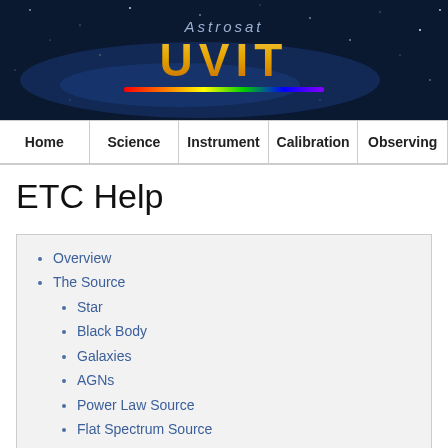[Figure (screenshot): Astrosat UVIT website banner logo with dark blue starfield background, showing 'Astrosat' text above large golden 'UVIT' letters with a rainbow spectrum bar beneath]
Home | Science | Instrument | Calibration | Observing
ETC Help
Overview
The Source
Star
Black Body
Galaxies
AGNs
Power Law Source
Flat Spectrum Source
User Defined Source